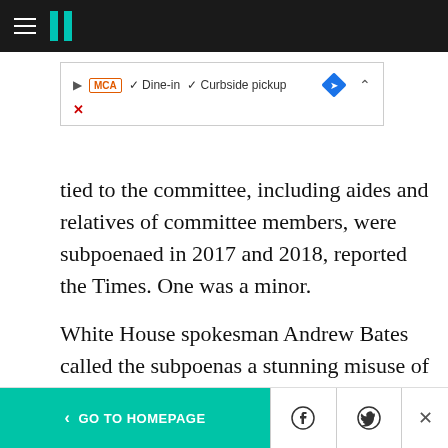HuffPost navigation header with hamburger menu and logo
[Figure (screenshot): Advertisement banner showing Dine-in and Curbside pickup options with MCA badge and blue direction diamond icon]
tied to the committee, including aides and relatives of committee members, were subpoenaed in 2017 and 2018, reported the Times. One was a minor.
White House spokesman Andrew Bates called the subpoenas a stunning misuse of authority.
“Attorneys general’s only loyalty should be to the rule of law — never to politics,” Bates told The
< GO TO HOMEPAGE [Facebook icon] [Twitter icon] [X]